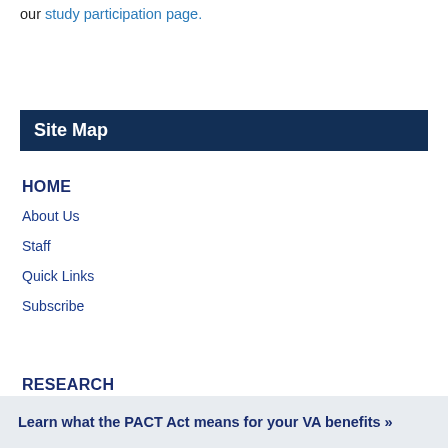our study participation page.
Site Map
HOME
About Us
Staff
Quick Links
Subscribe
RESEARCH
Learn what the PACT Act means for your VA benefits »